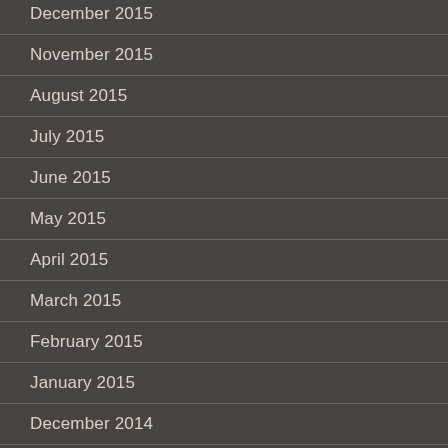December 2015
November 2015
August 2015
July 2015
June 2015
May 2015
April 2015
March 2015
February 2015
January 2015
December 2014
October 2014
September 2014